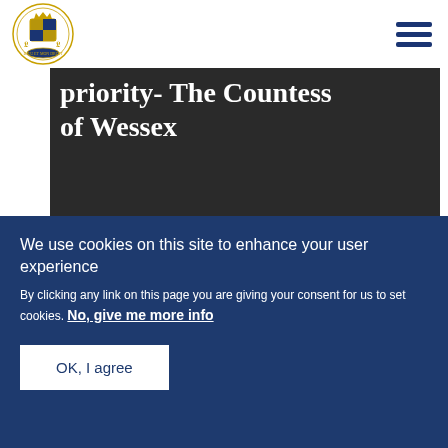Royal seal logo and navigation menu
priority- The Countess of Wessex
[Figure (photo): Two photos: left shows an ornate church lectern with a red book inside a stone cathedral; right shows an elderly man seated near a monument/statue in what appears to be a formal hall]
We use cookies on this site to enhance your user experience
By clicking any link on this page you are giving your consent for us to set cookies. No, give me more info
OK, I agree